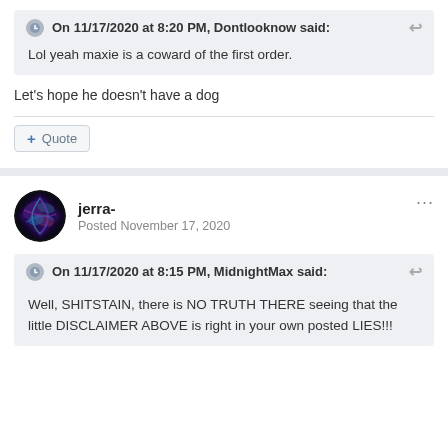On 11/17/2020 at 8:20 PM, Dontlooknow said:
Lol yeah maxie is a coward of the first order.
Let's hope he doesn't have a dog
Quote
jerra-
Posted November 17, 2020
On 11/17/2020 at 8:15 PM, MidnightMax said:
Well, SHITSTAIN, there is NO TRUTH THERE seeing that the little DISCLAIMER ABOVE is right in your own posted LIES!!!